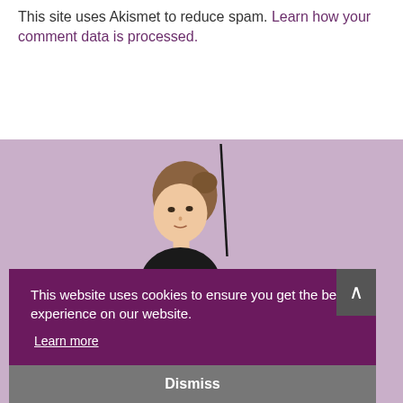This site uses Akismet to reduce spam. Learn how your comment data is processed.
[Figure (photo): A woman's head and upper body partially visible against a light purple background, holding a bow (as in violin bow) extended upward.]
This website uses cookies to ensure you get the best experience on our website.
Learn more
Dismiss